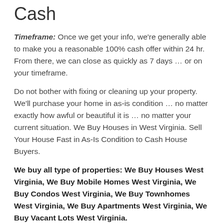Cash
Timeframe: Once we get your info, we’re generally able to make you a reasonable 100% cash offer within 24 hr. From there, we can close as quickly as 7 days … or on your timeframe.
Do not bother with fixing or cleaning up your property. We’ll purchase your home in as-is condition … no matter exactly how awful or beautiful it is … no matter your current situation. We Buy Houses in West Virginia. Sell Your House Fast in As-Is Condition to Cash House Buyers.
We buy all type of properties: We Buy Houses West Virginia, We Buy Mobile Homes West Virginia, We Buy Condos West Virginia, We Buy Townhomes West Virginia, We Buy Apartments West Virginia, We Buy Vacant Lots West Virginia.
See what we can pay you for your West Virginia